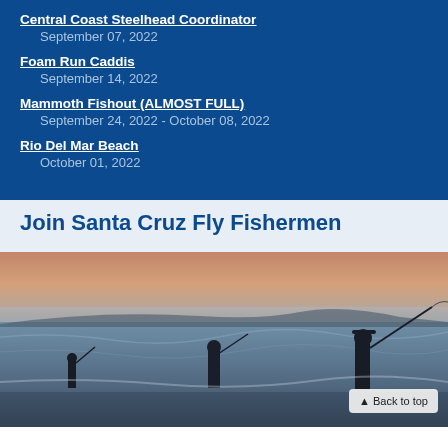Central Coast Steelhead Coordinator
September 07, 2022
Foam Run Caddis
September 14, 2022
Mammoth Fishout (ALMOST FULL)
September 24, 2022 - October 08, 2022
Rio Del Mar Beach
October 01, 2022
Join Santa Cruz Fly Fishermen
[Figure (photo): Three silhouetted fly fishermen wading in ocean surf at dusk/dawn with misty coastline in background]
▲ Back to top